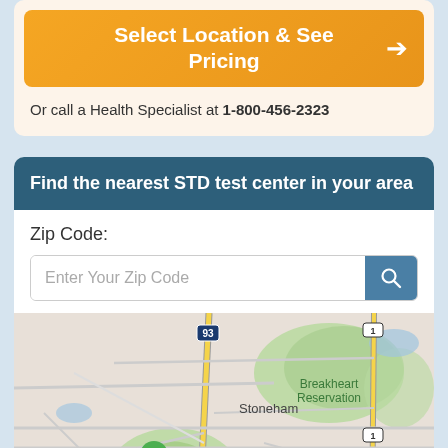Select Location & See Pricing →
Or call a Health Specialist at 1-800-456-2323
Find the nearest STD test center in your area
Zip Code:
Enter Your Zip Code
[Figure (map): Google Maps view showing Stoneham, Stone Zoo, Middlesex Fells Reservation, Breakheart Reservation, Saugus, Winchester, and Melrose areas with a red pin on Melrose and a green pet icon near Stone Zoo. Route 93 and Route 1 visible.]